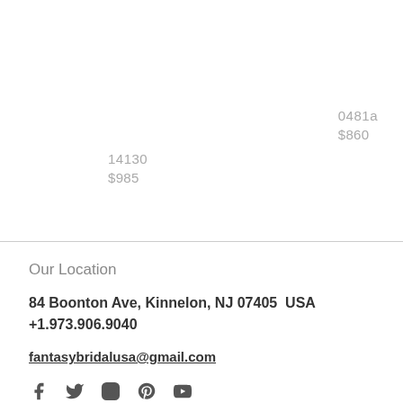0481a
$860
14130
$985
Our Location
84 Boonton Ave, Kinnelon, NJ 07405  USA
+1.973.906.9040
fantasybridalusa@gmail.com
[Figure (illustration): Social media icons row (Facebook, Twitter/X, Instagram, Pinterest, YouTube or similar)]